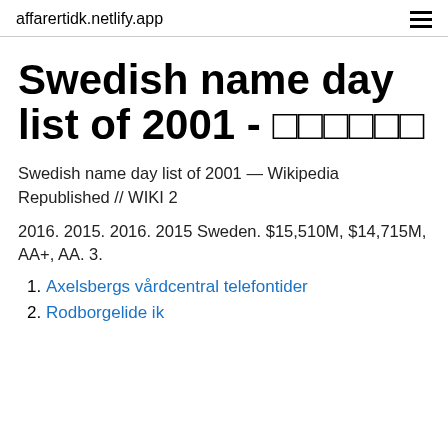affarertidk.netlify.app
Swedish name day list of 2001 - ??????
Swedish name day list of 2001 — Wikipedia Republished // WIKI 2
2016. 2015. 2016. 2015 Sweden. $15,510M, $14,715M, AA+, AA. 3.
Axelsbergs vårdcentral telefontider
Rodborgelide ik